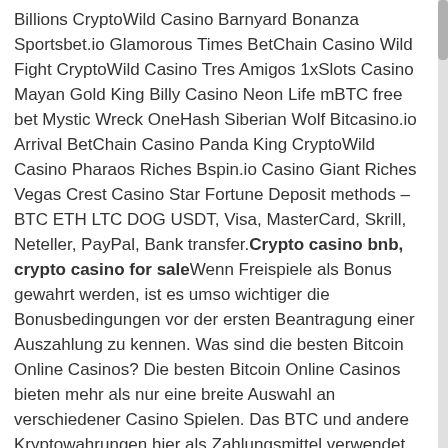Billions CryptoWild Casino Barnyard Bonanza Sportsbet.io Glamorous Times BetChain Casino Wild Fight CryptoWild Casino Tres Amigos 1xSlots Casino Mayan Gold King Billy Casino Neon Life mBTC free bet Mystic Wreck OneHash Siberian Wolf Bitcasino.io Arrival BetChain Casino Panda King CryptoWild Casino Pharaos Riches Bspin.io Casino Giant Riches Vegas Crest Casino Star Fortune Deposit methods – BTC ETH LTC DOG USDT, Visa, MasterCard, Skrill, Neteller, PayPal, Bank transfer. Crypto casino bnb, crypto casino for sale Wenn Freispiele als Bonus gewahrt werden, ist es umso wichtiger die Bonusbedingungen vor der ersten Beantragung einer Auszahlung zu kennen. Was sind die besten Bitcoin Online Casinos? Die besten Bitcoin Online Casinos bieten mehr als nur eine breite Auswahl an verschiedener Casino Spielen. Das BTC und andere Kryptowahrungen hier als Zahlungsmittel verwendet werden konnen, ist ein weiteres Qualitatsmerkmal. Doch auch im Bitcoin Casino geht es um Sicherheit, crypto casino bnb. Betking login — a cryptocurrency casino that emerged in early 2020, based on the tron blockchain that